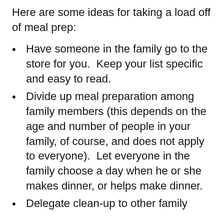Here are some ideas for taking a load off of meal prep:
Have someone in the family go to the store for you.  Keep your list specific and easy to read.
Divide up meal preparation among family members (this depends on the age and number of people in your family, of course, and does not apply to everyone).  Let everyone in the family choose a day when he or she makes dinner, or helps make dinner.
Delegate clean-up to other family members.